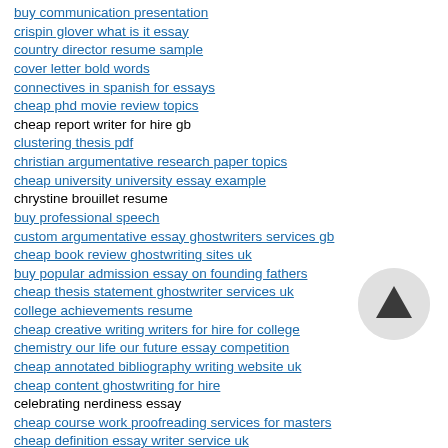buy communication presentation
crispin glover what is it essay
country director resume sample
cover letter bold words
connectives in spanish for essays
cheap phd movie review topics
cheap report writer for hire gb
clustering thesis pdf
christian argumentative research paper topics
cheap university university essay example
chrystine brouillet resume
buy professional speech
custom argumentative essay ghostwriters services gb
cheap book review ghostwriting sites uk
buy popular admission essay on founding fathers
cheap thesis statement ghostwriter services uk
college achievements resume
cheap creative writing writers for hire for college
chemistry our life our future essay competition
cheap annotated bibliography writing website uk
cheap content ghostwriting for hire
celebrating nerdiness essay
cheap course work proofreading services for masters
cheap definition essay writer service uk
converting military resume to civilian resume